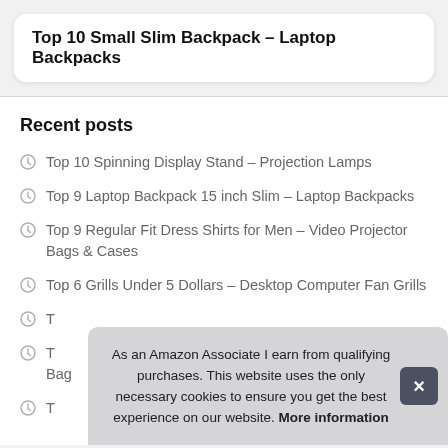Top 10 Small Slim Backpack – Laptop Backpacks
Recent posts
Top 10 Spinning Display Stand – Projection Lamps
Top 9 Laptop Backpack 15 inch Slim – Laptop Backpacks
Top 9 Regular Fit Dress Shirts for Men – Video Projector Bags & Cases
Top 6 Grills Under 5 Dollars – Desktop Computer Fan Grills
T
T Bag
T
As an Amazon Associate I earn from qualifying purchases. This website uses the only necessary cookies to ensure you get the best experience on our website. More information